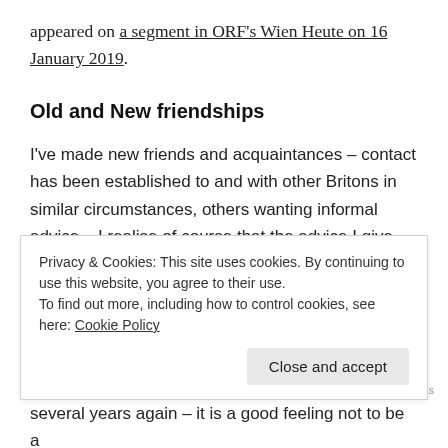appeared on a segment in ORF's Wien Heute on 16 January 2019.
Old and New friendships
I've made new friends and acquaintances – contact has been established to and with other Britons in similar circumstances, others wanting informal advice – I realise of course that the advice I give cannot be a substitute for professional advice, although often reassurance is often needed on a human level, and some of the hurdles that others face in going through the same process have
Privacy & Cookies: This site uses cookies. By continuing to use this website, you agree to their use.
To find out more, including how to control cookies, see here: Cookie Policy
several years again – it is a good feeling not to be a